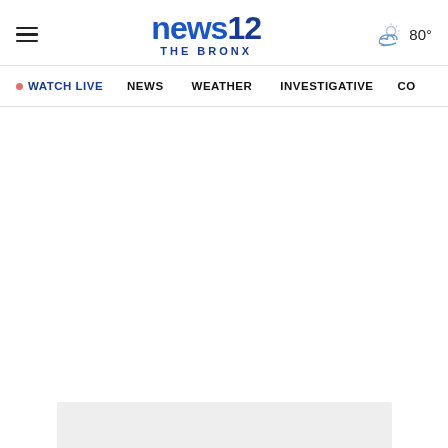news12 THE BRONX | WATCH LIVE | NEWS | WEATHER | INVESTIGATIVE | CO | 80°
[Figure (screenshot): News 12 The Bronx website header and navigation bar showing logo, hamburger menu, weather widget (partly cloudy, 80°), and nav links: WATCH LIVE, NEWS, WEATHER, INVESTIGATIVE, CO (truncated)]
[Figure (other): Light gray advertisement placeholder box at the bottom of the page content area]